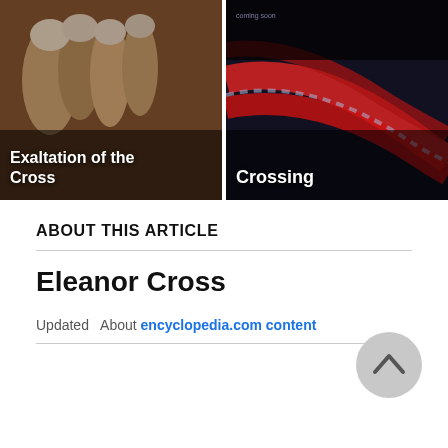[Figure (photo): Two side-by-side image cards. Left card: Painting of figures in robes with text 'Exaltation of the Cross'. Right card: Dark image of curved road/highway with text 'Crossing'.]
ABOUT THIS ARTICLE
Eleanor Cross
Updated   About encyclopedia.com content